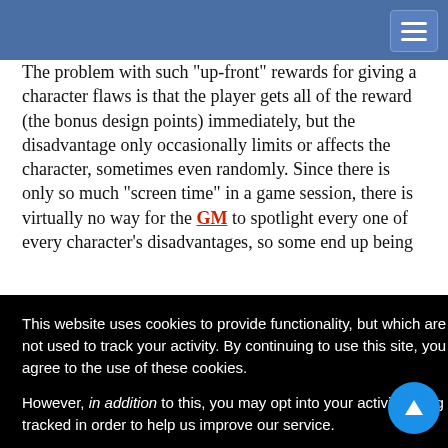The problem with such "up-front" rewards for giving a character flaws is that the player gets all of the reward (the bonus design points) immediately, but the disadvantage only occasionally limits or affects the character, sometimes even randomly. Since there is only so much "screen time" in a game session, there is virtually no way for the GM to spotlight every one of every character's disadvantages, so some end up being [partially obscured] ...xchange for [their initial] ...othing but a [...]orward, leading [...] as much as [...]
[...] a "pay-as-[...] plication in the [...] along with it, the player gets a reward in the form of a victory point
This website uses cookies to provide functionality, but which are not used to track your activity. By continuing to use this site, you agree to the use of these cookies.

However, in addition to this, you may opt into your activity being tracked in order to help us improve our service.

For more information, please click here
OK   No, thank you